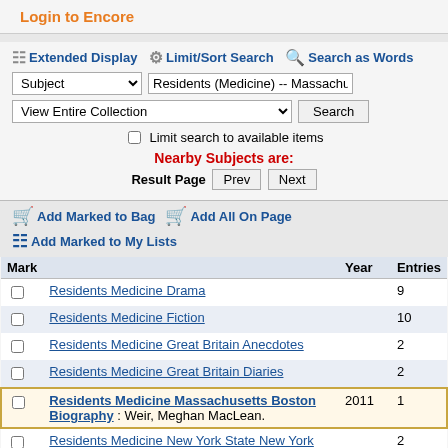Login to Encore
Extended Display  Limit/Sort Search  Search as Words
Subject  |  Residents (Medicine) -- Massachusetts --
View Entire Collection  |  Search
Limit search to available items
Nearby Subjects are:
Result Page  Prev  Next
Add Marked to Bag  Add All On Page
Add Marked to My Lists
| Mark |  | Year | Entries |
| --- | --- | --- | --- |
| ☐ | Residents Medicine Drama |  | 9 |
| ☐ | Residents Medicine Fiction |  | 10 |
| ☐ | Residents Medicine Great Britain Anecdotes |  | 2 |
| ☐ | Residents Medicine Great Britain Diaries |  | 2 |
| ☐ | Residents Medicine Massachusetts Boston Biography : Weir, Meghan MacLean. | 2011 | 1 |
| ☐ | Residents Medicine New York State New York |  | 2 |